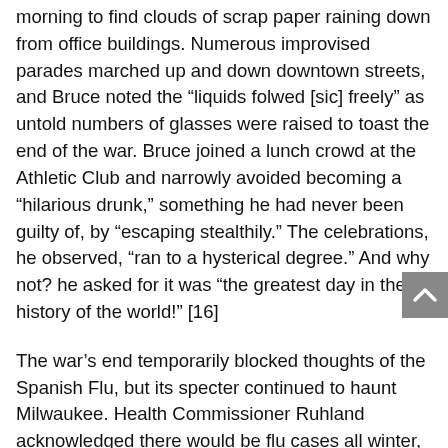morning to find clouds of scrap paper raining down from office buildings. Numerous improvised parades marched up and down downtown streets, and Bruce noted the “liquids folwed [sic] freely” as untold numbers of glasses were raised to toast the end of the war. Bruce joined a lunch crowd at the Athletic Club and narrowly avoided becoming a “hilarious drunk,” something he had never been guilty of, by “escaping stealthily.” The celebrations, he observed, “ran to a hysterical degree.” And why not? he asked for it was “the greatest day in the history of the world!” [16]
The war’s end temporarily blocked thoughts of the Spanish Flu, but its specter continued to haunt Milwaukee. Health Commissioner Ruhland acknowledged there would be flu cases all winter, but Milwaukeeans did not need to worry about the resurgence of epidemic levels. He changed his tune, however, in a matter of two weeks. The virus mutated